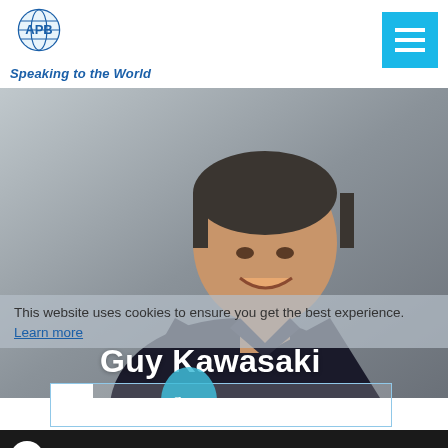[Figure (logo): APB Speakers Bureau logo with globe and text 'Speaking to the World']
[Figure (other): Hamburger menu button in cyan/blue color with three white horizontal lines]
[Figure (photo): Portrait photo of Guy Kawasaki smiling, wearing a black leather jacket, with a Canva badge visible]
This website uses cookies to ensure you get the best experience. Learn more
Guy Kawasaki
Chief Evangelist of Canva
[Figure (screenshot): TEDx video thumbnail with text 'The art of innova' (innovation)]